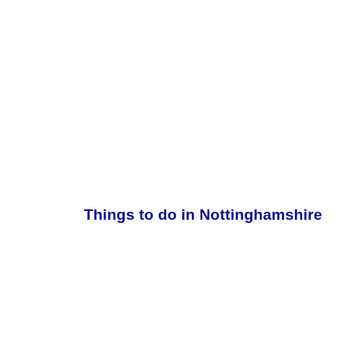Things to do in Nottinghamshire